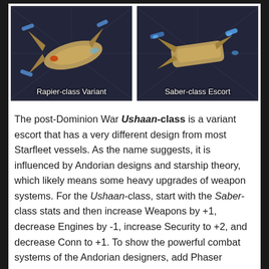[Figure (photo): Rapier-class Variant starship image with label at bottom]
[Figure (photo): Saber-class Escort starship image with label at bottom]
The post-Dominion War Ushaan-class is a variant escort that has a very different design from most Starfleet vessels. As the name suggests, it is influenced by Andorian designs and starship theory, which likely means some heavy upgrades of weapon systems. For the Ushaan-class, start with the Saber-class stats and then increase Weapons by +1, decrease Engines by -1, increase Security to +2, and decrease Conn to +1. To show the powerful combat systems of the Andorian designers, add Phaser Cannons to the